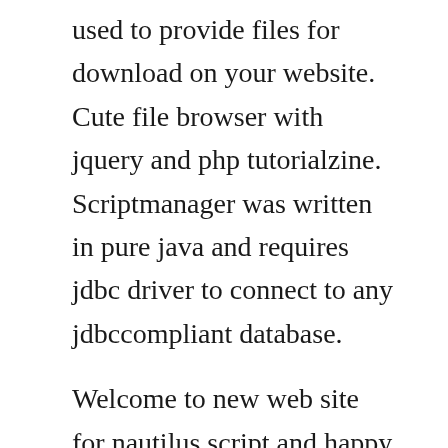used to provide files for download on your website. Cute file browser with jquery and php tutorialzine. Scriptmanager was written in pure java and requires jdbc driver to connect to any jdbccompliant database.
Welcome to new web site for nautilus script and happy scripting. Crosssite scripting is the unintended execution of remote code by a web client. Php is a widelyused generalpurpose scripting language that is especially suited for web development and can be embedded into html. Idm shows the